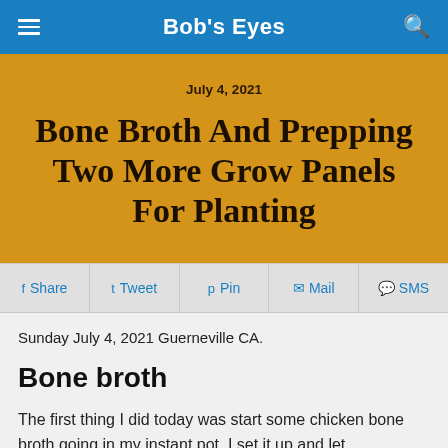Bob's Eyes
July 4, 2021
Bone Broth And Prepping Two More Grow Panels For Planting
Share  Tweet  Pin  Mail  SMS
Sunday July 4, 2021 Guerneville CA.
Bone broth
The first thing I did today was start some chicken bone broth going in my instant pot. I set it up and let